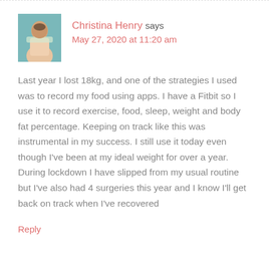[Figure (photo): Profile photo of Christina Henry, a woman in a floral top]
Christina Henry says
May 27, 2020 at 11:20 am
Last year I lost 18kg, and one of the strategies I used was to record my food using apps. I have a Fitbit so I use it to record exercise, food, sleep, weight and body fat percentage. Keeping on track like this was instrumental in my success. I still use it today even though I've been at my ideal weight for over a year. During lockdown I have slipped from my usual routine but I've also had 4 surgeries this year and I know I'll get back on track when I've recovered
Reply